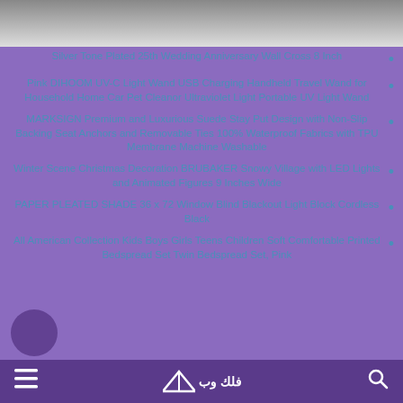[Figure (photo): Top portion of a photo showing a dark object on a light wooden/grey surface]
Silver Tone Plated 25th Wedding Anniversary Wall Cross 8 Inch
Pink DIHOOM UV-C Light Wand USB Charging Handheld Travel Wand for Household Home Car Pet Cleanor Ultraviolet Light Portable UV Light Wand
MARKSIGN Premium and Luxurious Suede Stay Put Design with Non-Slip Backing Seat Anchors and Removable Ties 100% Waterproof Fabrics with TPU Membrane Machine Washable
Winter Scene Christmas Decoration BRUBAKER Snowy Village with LED Lights and Animated Figures 9 Inches Wide
PAPER PLEATED SHADE 36 x 72 Window Blind Blackout Light Block Cordless Black
All American Collection Kids Boys Girls Teens Children Soft Comfortable Printed Bedspread Set Twin Bedspread Set, Pink
فلك وب